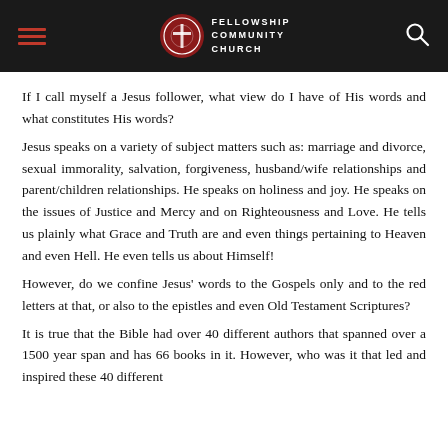Fellowship Community Church
If I call myself a Jesus follower, what view do I have of His words and what constitutes His words?
Jesus speaks on a variety of subject matters such as: marriage and divorce, sexual immorality, salvation, forgiveness, husband/wife relationships and parent/children relationships. He speaks on holiness and joy. He speaks on the issues of Justice and Mercy and on Righteousness and Love. He tells us plainly what Grace and Truth are and even things pertaining to Heaven and even Hell. He even tells us about Himself!
However, do we confine Jesus' words to the Gospels only and to the red letters at that, or also to the epistles and even Old Testament Scriptures?
It is true that the Bible had over 40 different authors that spanned over a 1500 year span and has 66 books in it. However, who was it that led and inspired these 40 different